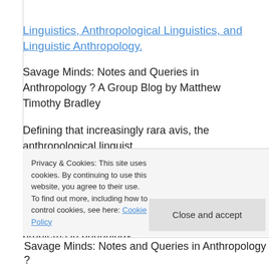Linguistics, Anthropological Linguistics, and Linguistic Anthropology
Savage Minds: Notes and Queries in Anthropology ? A Group Blog by Matthew Timothy Bradley
Defining that increasingly rara avis, the anthropological linguist.
The anthropological linguist possess proficiency in linguistic analysis of the sort falling under the umbrella of Basic Linguistic Theory. To put it crudely, s/he can solve problems in phonology,
Privacy & Cookies: This site uses cookies. By continuing to use this website, you agree to their use.
To find out more, including how to control cookies, see here: Cookie Policy
Close and accept
Savage Minds: Notes and Queries in Anthropology ?